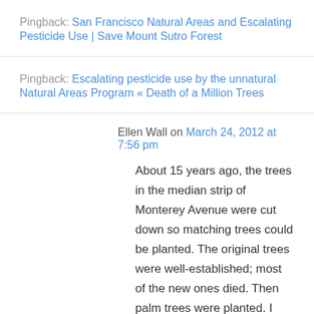Pingback: San Francisco Natural Areas and Escalating Pesticide Use | Save Mount Sutro Forest
Pingback: Escalating pesticide use by the unnatural Natural Areas Program « Death of a Million Trees
Ellen Wall on March 24, 2012 at 7:56 pm
About 15 years ago, the trees in the median strip of Monterey Avenue were cut down so matching trees could be planted. The original trees were well-established; most of the new ones died. Then palm trees were planted. I truly think the people in charge at Rec/Park are either incredibly ignorant and/or profiting from the destruction and wasting of trees…